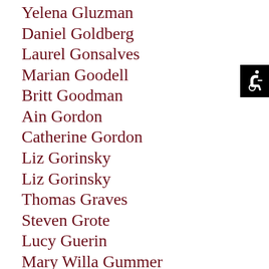Yelena Gluzman
Daniel Goldberg
Laurel Gonsalves
Marian Goodell
Britt Goodman
Ain Gordon
Catherine Gordon
Liz Gorinsky
Liz Gorinsky
Thomas Graves
Steven Grote
Lucy Guerin
Mary Willa Gummer
Catherine Hamilton
[Figure (illustration): Black square with white wheelchair accessibility icon in the upper right area of the page]